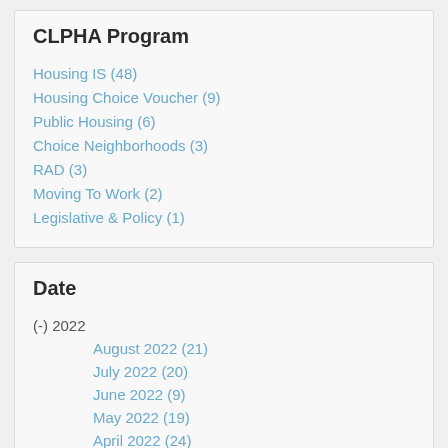CLPHA Program
Housing IS (48)
Housing Choice Voucher (9)
Public Housing (6)
Choice Neighborhoods (3)
RAD (3)
Moving To Work (2)
Legislative & Policy (1)
Date
(-) 2022
August 2022 (21)
July 2022 (20)
June 2022 (9)
May 2022 (19)
April 2022 (24)